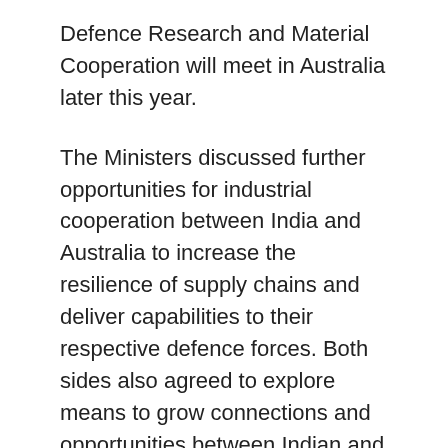Defence Research and Material Cooperation will meet in Australia later this year.
The Ministers discussed further opportunities for industrial cooperation between India and Australia to increase the resilience of supply chains and deliver capabilities to their respective defence forces. Both sides also agreed to explore means to grow connections and opportunities between Indian and Australian defence industrial bases.
In the meeting, they welcomed the plan to commence the landmark General